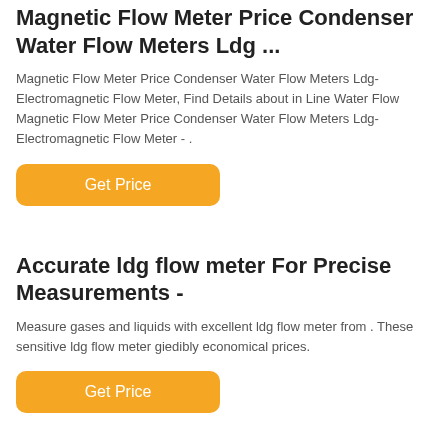Magnetic Flow Meter Price Condenser Water Flow Meters Ldg ...
Magnetic Flow Meter Price Condenser Water Flow Meters Ldg-Electromagnetic Flow Meter, Find Details about in Line Water Flow Magnetic Flow Meter Price Condenser Water Flow Meters Ldg-Electromagnetic Flow Meter - .
[Figure (other): Orange rounded button labeled 'Get Price']
Accurate ldg flow meter For Precise Measurements -
Measure gases and liquids with excellent ldg flow meter from . These sensitive ldg flow meter giedibly economical prices.
[Figure (other): Orange rounded button labeled 'Get Price']